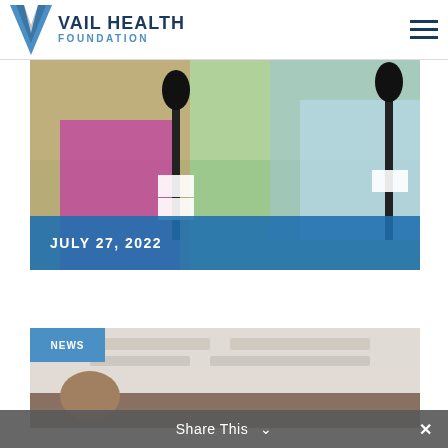[Figure (logo): Vail Health Foundation logo with blue V chevron and text]
[Figure (photo): Two people holding Vail Health branded microphones outdoors with greenery background, date banner reading JULY 27, 2022]
JULY 27, 2022
[Figure (photo): NEWS badge in blue over a partial photo of a medical or facility scene with a person visible at bottom]
NEWS
Share This